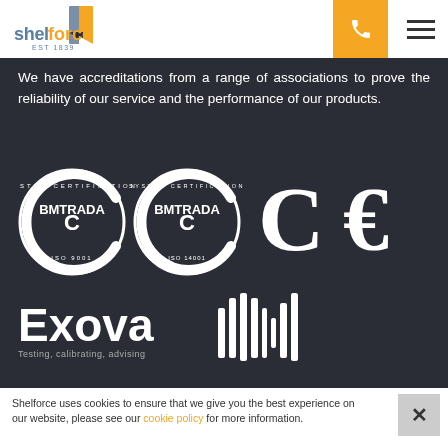[Figure (logo): Shelforce logo with EST 1839 text and orange/grey bookmark icon]
We have accreditations from a range of associations to prove the reliability of our service and the performance of our products.
[Figure (other): Certification logos: BMTRADA ISO 9001 System Certification, BMTRADA ISO 14001 System Certification, and two CE marks]
[Figure (logo): Exova - Testing, calibrating, advising logo with barcode-like icon]
Shelforce uses cookies to ensure that we give you the best experience on our website, please see our cookie policy for more information.